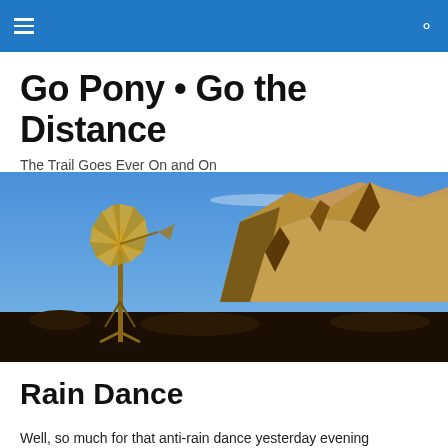Go Pony • Go the Distance — navigation header with hamburger menu and search icon
Go Pony • Go the Distance
The Trail Goes Ever On and On
[Figure (photo): Wide landscape photo showing a windmill in the foreground on the left side, with rugged rocky mountains in the background under a blue sky with sparse clouds.]
Rain Dance
Well, so much for that anti-rain dance yesterday evening